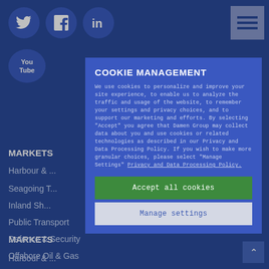[Figure (screenshot): Website background showing Damen Group navigation with social media icons (Twitter, Facebook, LinkedIn, YouTube) and blue navigation menu items: MARKETS, Harbour & ..., Seagoing T..., Inland Sh..., Public Transport, Defence & Security, Offshore Oil & Gas, Offshore Wind, Dredging and Marine Contracting, Fishing]
COOKIE MANAGEMENT
We use cookies to personalize and improve your site experience, to enable us to analyze the traffic and usage of the website, to remember your settings and privacy choices, and to support our marketing and efforts. By selecting "Accept" you agree that Damen Group may collect data about you and use cookies or related technologies as described in our Privacy and Data Processing Policy. If you wish to make more granular choices, please select "Manage Settings" Privacy and Data Processing Policy.
Accept all cookies
Manage settings